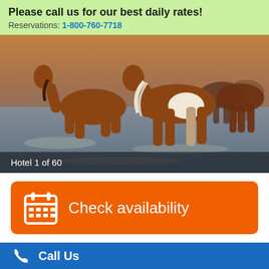Please call us for our best daily rates!
Reservations: 1-800-760-7718
[Figure (photo): Horses wading through shallow water at sunset; caption reads 'Hotel 1 of 60']
Check availability
Very Good   4.0/5
Call Us